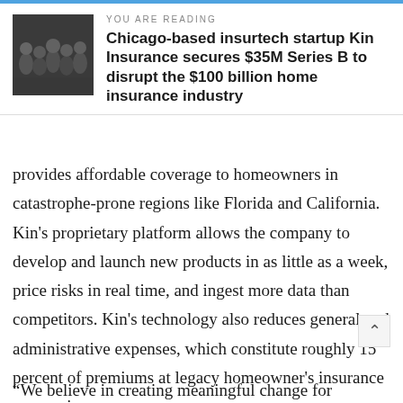[Figure (photo): Group photo of Kin Insurance team members]
YOU ARE READING
Chicago-based insurtech startup Kin Insurance secures $35M Series B to disrupt the $100 billion home insurance industry
provides affordable coverage to homeowners in catastrophe-prone regions like Florida and California. Kin's proprietary platform allows the company to develop and launch new products in as little as a week, price risks in real time, and ingest more data than competitors. Kin's technology also reduces general and administrative expenses, which constitute roughly 15 percent of premiums at legacy homeowner's insurance companies.
“We believe in creating meaningful change for